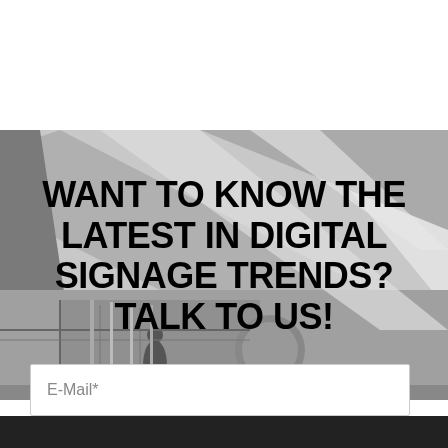[Figure (photo): Black and white photograph of a modern building interior with diagonal structural beams, escalators, and architectural details. A person is visible in the lower portion.]
WANT TO KNOW THE LATEST IN DIGITAL SIGNAGE TRENDS? TALK TO US!
E-Mail*